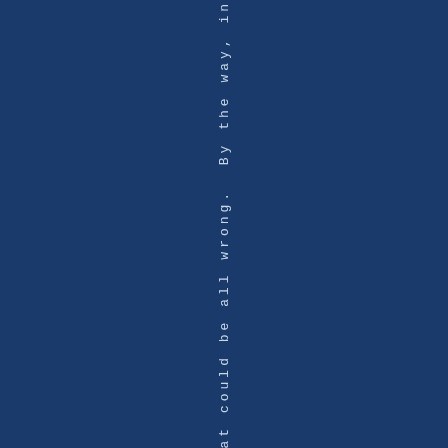at could be all wrong.  By the way, in